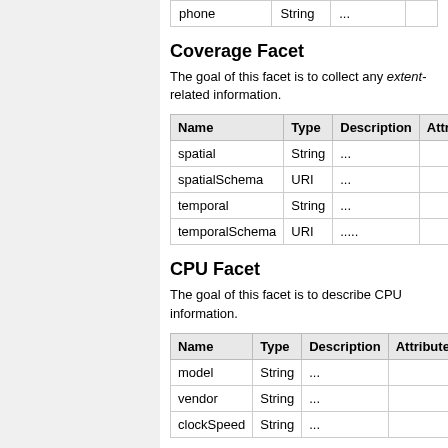| Name | Type | Description | Attributes |
| --- | --- | --- | --- |
| phone | String | ... |  |
Coverage Facet
The goal of this facet is to collect any extent-related information.
| Name | Type | Description | Attributes |
| --- | --- | --- | --- |
| spatial | String | ... |  |
| spatialSchema | URI | ... |  |
| temporal | String | ... |  |
| temporalSchema | URI | ..... |  |
CPU Facet
The goal of this facet is to describe CPU information.
| Name | Type | Description | Attributes |
| --- | --- | --- | --- |
| model | String | ... |  |
| vendor | String | ... |  |
| clockSpeed | String | ... |  |